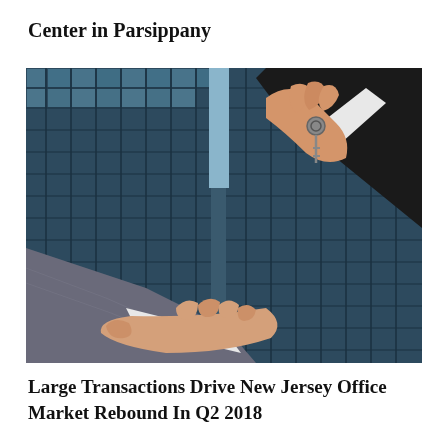Center in Parsippany
[Figure (photo): Two people exchanging keys in front of a glass office building — one hand (upper right, dark suit) holding out keys, another hand (lower left, grey suit) receiving them. Office building facade with blue-tinted glass windows visible in the background.]
Large Transactions Drive New Jersey Office Market Rebound In Q2 2018